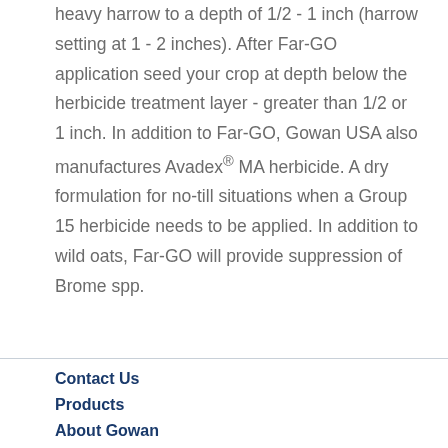heavy harrow to a depth of 1/2 - 1 inch (harrow setting at 1 - 2 inches). After Far-GO application seed your crop at depth below the herbicide treatment layer - greater than 1/2 or 1 inch. In addition to Far-GO, Gowan USA also manufactures Avadex® MA herbicide. A dry formulation for no-till situations when a Group 15 herbicide needs to be applied. In addition to wild oats, Far-GO will provide suppression of Brome spp.
Contact Us
Products
About Gowan
News